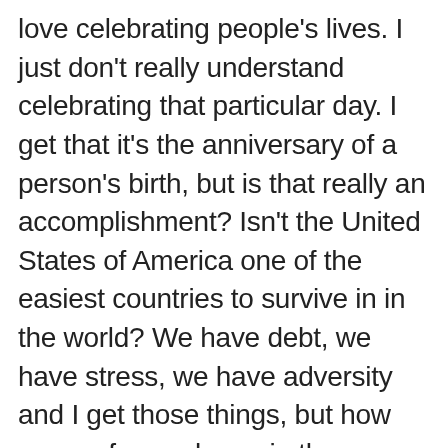love celebrating people's lives. I just don't really understand celebrating that particular day. I get that it's the anniversary of a person's birth, but is that really an accomplishment? Isn't the United States of America one of the easiest countries to survive in in the world? We have debt, we have stress, we have adversity and I get those things, but how many of us wake up in the morning thinking, "There's a real chance that I don't survive the day today." This is a real question that many people in various countries around the world ask themselves in the mornings. It's because of this that I'm usually not very interested in celebrating my birthday. I feel like people